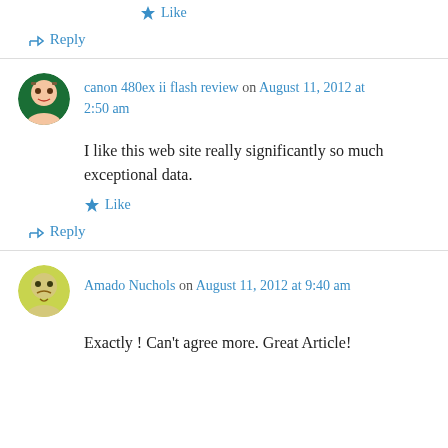★ Like
↳ Reply
canon 480ex ii flash review on August 11, 2012 at 2:50 am
I like this web site really significantly so much exceptional data.
★ Like
↳ Reply
Amado Nuchols on August 11, 2012 at 9:40 am
Exactly ! Can't agree more. Great Article!